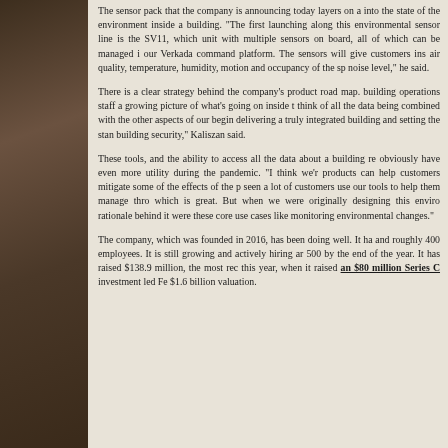The sensor pack that the company is announcing today layers on a into the state of the environment inside a building. "The first launching along this environmental sensor line is the SV11, which unit with multiple sensors on board, all of which can be managed i our Verkada command platform. The sensors will give customers ins air quality, temperature, humidity, motion and occupancy of the sp noise level," he said.
There is a clear strategy behind the company's product road map. building operations staff a growing picture of what's going on inside t think of all the data being combined with the other aspects of our begin delivering a truly integrated building and setting the stan building security," Kaliszan said.
These tools, and the ability to access all the data about a building re obviously have even more utility during the pandemic. "I think we'r products can help customers mitigate some of the effects of the p seen a lot of customers use our tools to help them manage thro which is great. But when we were originally designing this enviro rationale behind it were these core use cases like monitoring environmental changes."
The company, which was founded in 2016, has been doing well. It ha and roughly 400 employees. It is still growing and actively hiring ar 500 by the end of the year. It has raised $138.9 million, the most rec this year, when it raised an $80 million Series C investment led Fe $1.6 billion valuation.